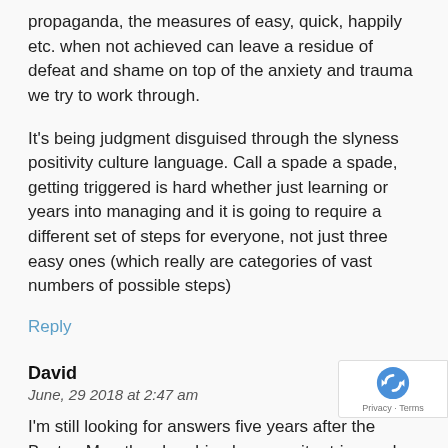propaganda, the measures of easy, quick, happily etc. when not achieved can leave a residue of defeat and shame on top of the anxiety and trauma we try to work through.
It's being judgment disguised through the slyness positivity culture language. Call a spade a spade, getting triggered is hard whether just learning or years into managing and it is going to require a different set of steps for everyone, not just three easy ones (which really are categories of vast numbers of possible steps)
Reply
David
June, 29 2018 at 2:47 am
I'm still looking for answers five years after the Boston Marathon bombing because it retriggered a smoke bombing I experienced in high school to no end. Fi... therapist when he treated my confessed need to buy